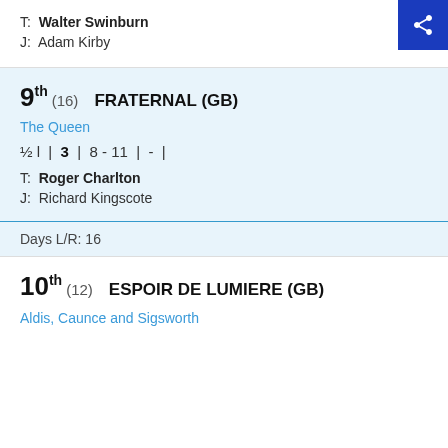T: Walter Swinburn
J: Adam Kirby
9th (16) FRATERNAL (GB)
The Queen
½ l | 3 | 8 - 11 | - |
T: Roger Charlton
J: Richard Kingscote
Days L/R: 16
10th (12) ESPOIR DE LUMIERE (GB)
Aldis, Caunce and Sigsworth